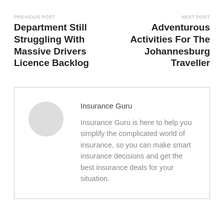PREVIOUS POST
Department Still Struggling With Massive Drivers Licence Backlog
NEXT POST
Adventurous Activities For The Johannesburg Traveller
Insurance Guru
Insurance Guru is here to help you simplify the complicated world of insurance, so you can make smart insurance decisions and get the best insurance deals for your situation.